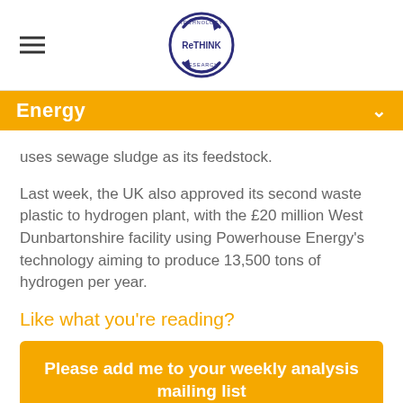ReTHINK Technology Research logo with hamburger menu
Energy
uses sewage sludge as its feedstock.
Last week, the UK also approved its second waste plastic to hydrogen plant, with the £20 million West Dunbartonshire facility using Powerhouse Energy's technology aiming to produce 13,500 tons of hydrogen per year.
Like what you're reading?
Please add me to your weekly analysis mailing list